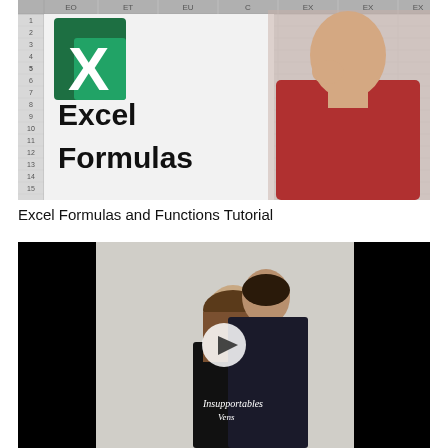[Figure (screenshot): Excel Formulas tutorial thumbnail showing the Microsoft Excel logo (green X icon), text 'Excel Formulas' in large bold black font on a white/grey spreadsheet background, with a man in a red t-shirt on the right side touching his chin thoughtfully]
Excel Formulas and Functions Tutorial
[Figure (screenshot): Video thumbnail with black bars on left and right sides, showing two people embracing - a woman in a black top with 'Insupportables' written in script and a man in a dark jacket, with a white circular play button overlay in the center]